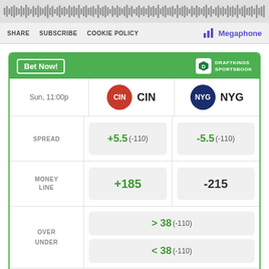[Figure (other): Audio waveform player bar with dense vertical bars representing audio waveform]
SHARE  SUBSCRIBE  COOKIE POLICY    Megaphone
|  | CIN | NYG |
| --- | --- | --- |
| SPREAD | +5.5 (-110) | -5.5 (-110) |
| MONEY LINE | +185 | -215 |
| OVER UNDER | > 38 (-110)
< 38 (-110) |  |
Odds/Lines subject to change. See draftkings.com for details.
[Figure (other): AD video placeholder bar, black background with AD badge]